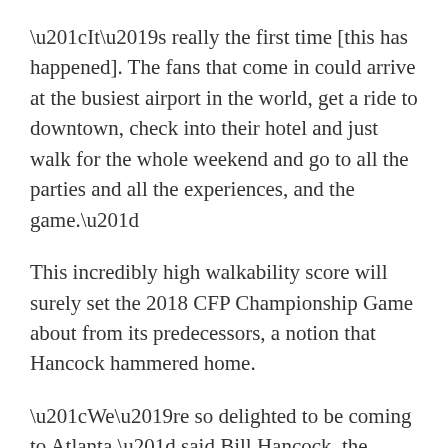“It’s really the first time [this has happened]. The fans that come in could arrive at the busiest airport in the world, get a ride to downtown, check into their hotel and just walk for the whole weekend and go to all the parties and all the experiences, and the game.”
This incredibly high walkability score will surely set the 2018 CFP Championship Game about from its predecessors, a notion that Hancock hammered home.
“We’re so delighted to be coming to Atlanta,” said Bill Hancock, the Executive Director of the College Football Playoff. “People know that the CFP National Championship will be yet another milestone in this community’s long and storied history of supporting college football. People will